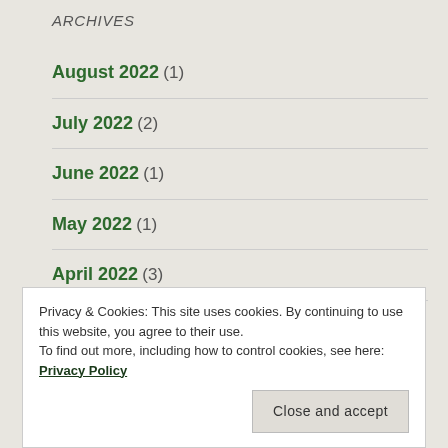ARCHIVES
August 2022 (1)
July 2022 (2)
June 2022 (1)
May 2022 (1)
April 2022 (3)
March 2022 (1)
Privacy & Cookies: This site uses cookies. By continuing to use this website, you agree to their use.
To find out more, including how to control cookies, see here: Privacy Policy
Close and accept